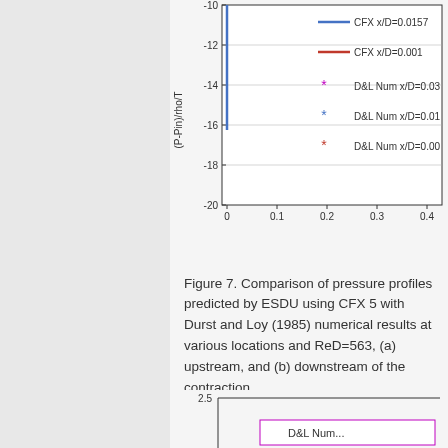[Figure (continuous-plot): Partial view of a line chart showing (P-Pin)/rho/T on y-axis (range -10 to -20) vs x-axis (0 to 0.4+). Contains legend entries: CFX x/D=0.0157 (blue line), CFX x/D=0.001 (red line), D&L Num x/D=0.03x (magenta asterisk), D&L Num x/D=0.01x (blue asterisk), D&L Num x/D=0.00x (red asterisk). Only top-left portion of chart is visible.]
Figure 7. Comparison of pressure profiles predicted by ESDU using CFX 5 with Durst and Loy (1985) numerical results at various locations and ReD=563, (a) upstream, and (b) downstream of the contraction.
[Figure (continuous-plot): Partial view of a second chart, showing top portion with y-axis value 2.5 and a legend box starting to appear at bottom.]